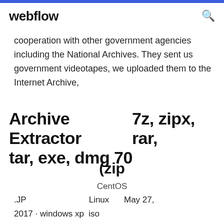webflow
cooperation with other government agencies including the National Archives. They sent us government videotapes, we uploaded them to the Internet Archive,
Archive Extractor   7z, zipx, rar, tar, exe, dmg          70
(zip
CentOS
.JP          Linux          May 27,
2017 · windows xp  iso